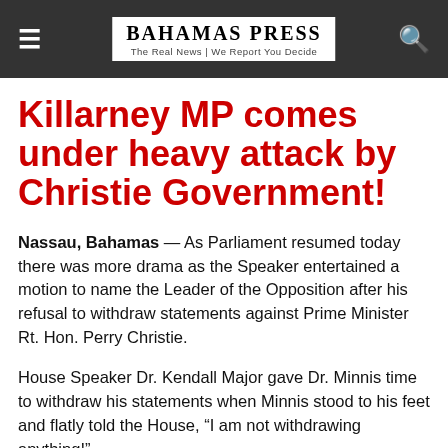Bahamas Press — The Real News | We Report You Decide
Killarney MP comes under heavy attack by Christie Government!
Nassau, Bahamas — As Parliament resumed today there was more drama as the Speaker entertained a motion to name the Leader of the Opposition after his refusal to withdraw statements against Prime Minister Rt. Hon. Perry Christie.
House Speaker Dr. Kendall Major gave Dr. Minnis time to withdraw his statements when Minnis stood to his feet and flatly told the House, “I am not withdrawing anything!”